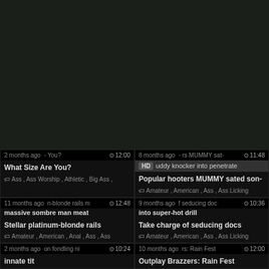[Figure (screenshot): Dark background upper portion of page]
2 months ago  You?  12:00
What Size Are You?
Ass, Ass Worship, Athletic, Big Ass
8 months ago  rs MUMMY sate  11:48
HD  uddy knocker into penetrate
Popular hooters MUMMY sated son-
Amateur, American, Ass, Ass Licking
11 months ago  n-blonde rails m  12:48
massive sombre man meat
Stellar platinum-blonde rails
Amateur, American, Anal, Ass, Ass
9 months ago  f seducing doc  10:36
into super-hot drill
Take charge of seducing docs
Amateur, American, Ass, Ass Licking
2 months ago  on fondling ni  10:24
innate tit
10 months ago  rs: Rain Fest  12:00
Outplay Brazzers: Rain Fest